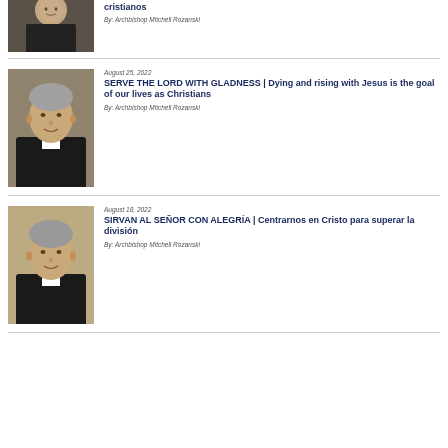[Figure (photo): Partial photo of Archbishop Mitchell Rozanski in black clerical attire, cropped at top]
cristianos
By: Archbishop Mitchell Rozanski
[Figure (photo): Photo of Archbishop Mitchell Rozanski in black clerical attire, smiling]
August 25, 2022
SERVE THE LORD WITH GLADNESS | Dying and rising with Jesus is the goal of our lives as Christians
By: Archbishop Mitchell Rozanski
[Figure (photo): Photo of Archbishop Mitchell Rozanski in black clerical attire, smiling]
August 18, 2022
SIRVAN AL SEÑOR CON ALEGRÍA | Centrarnos en Cristo para superar la división
By: Archbishop Mitchell Rozanski